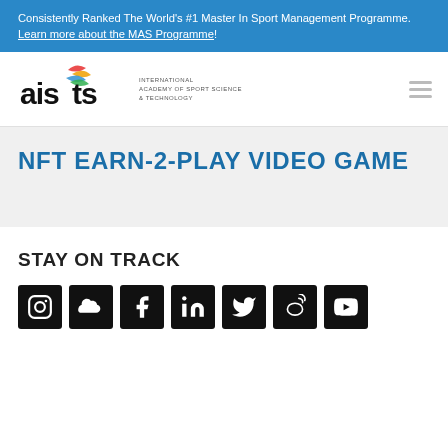Consistently Ranked The World's #1 Master In Sport Management Programme. Learn more about the MAS Programme!
[Figure (logo): AISTS logo with colored swooshes and text 'INTERNATIONAL ACADEMY OF SPORT SCIENCE & TECHNOLOGY']
NFT EARN-2-PLAY VIDEO GAME
STAY ON TRACK
[Figure (infographic): Social media icons row: Instagram, SoundCloud, Facebook, LinkedIn, Twitter, Weibo, YouTube]